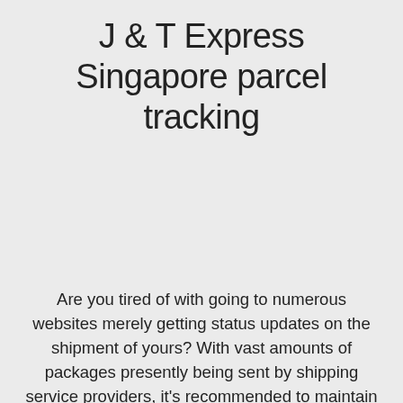J & T Express Singapore parcel tracking
Are you tired of with going to numerous websites merely getting status updates on the shipment of yours? With vast amounts of packages presently being sent by shipping service providers, it's recommended to maintain a close eye on them and so avoid loss or theft of the shipping and delivery. Have a shot at my-package-tracking.com nowadays! We offer recurring status updates